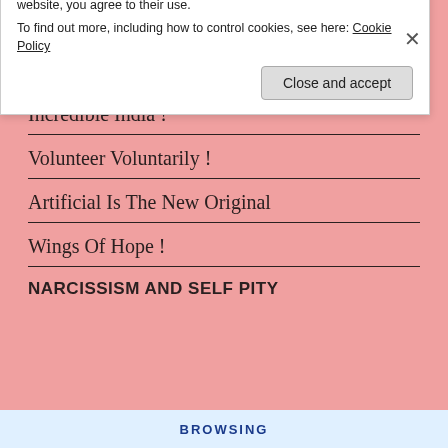WEALTHY ISN'T PROSPERITY
Incredible India !
Incredible India !
Volunteer Voluntarily !
Artificial Is The New Original
Wings Of Hope !
NARCISSISM AND SELF PITY
Privacy & Cookies: This site uses cookies. By continuing to use this website, you agree to their use.
To find out more, including how to control cookies, see here: Cookie Policy
Close and accept